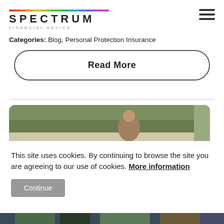[Figure (logo): Spectrum Financial Advice logo with rainbow bar above text]
Categories: Blog, Personal Protection Insurance
Read More
[Figure (photo): Outdoor photo showing person with trees in background, top portion visible]
This site uses cookies. By continuing to browse the site you are agreeing to our use of cookies. More information
Continue
[Figure (photo): Bottom strip photo, partially visible]